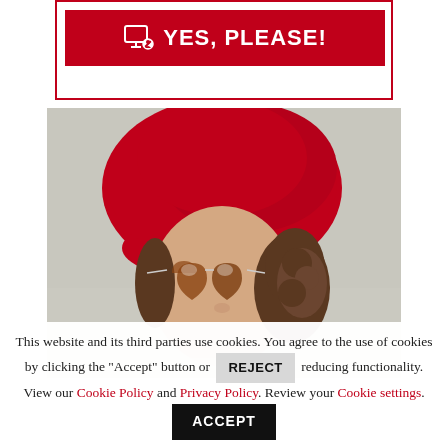[Figure (other): Red button with person/screen icon and text YES, PLEASE! inside a red bordered box]
[Figure (photo): Person wearing a red beret and heart-shaped sunglasses, with curly brown hair, against a light grey textured wall background]
This website and its third parties use cookies. You agree to the use of cookies by clicking the "Accept" button or REJECT reducing functionality. View our Cookie Policy and Privacy Policy. Review your Cookie settings. ACCEPT